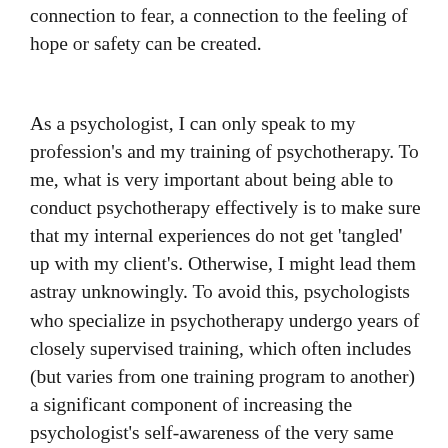connection to fear, a connection to the feeling of hope or safety can be created.
As a psychologist, I can only speak to my profession's and my training of psychotherapy. To me, what is very important about being able to conduct psychotherapy effectively is to make sure that my internal experiences do not get 'tangled' up with my client's. Otherwise, I might lead them astray unknowingly. To avoid this, psychologists who specialize in psychotherapy undergo years of closely supervised training, which often includes (but varies from one training program to another) a significant component of increasing the psychologist's self-awareness of the very same thing that we encourage our clients to be aware of: emotions, thoughts, go-to response options. I believe a high level of self-awareness to be imperative to the therapist being able to focus